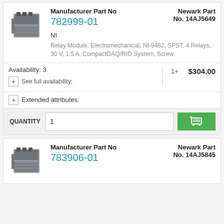[Figure (photo): Product photo of NI relay module device, gray/black hardware]
Manufacturer Part No
782999-01
Newark Part No. 14AJ5649
NI
Relay Module, Electromechanical, NI-9482, SPST, 4 Relays, 30 V, 1.5 A, CompactDAQ/RIO System, Screw
Availability: 3
1+
$304.00
+ See full availability:
+ Extended attributes:
QUANTITY
1
[Figure (photo): Product photo of NI module device, gray/black hardware]
Manufacturer Part No
783906-01
Newark Part No. 14AJ5845